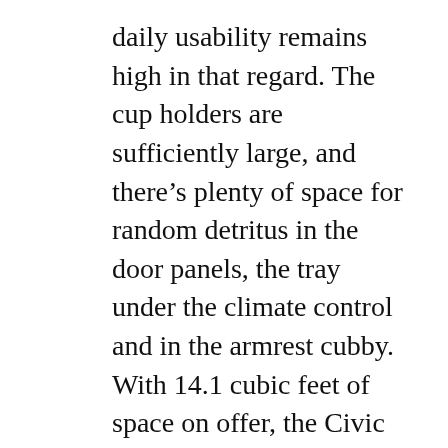daily usability remains high in that regard. The cup holders are sufficiently large, and there's plenty of space for random detritus in the door panels, the tray under the climate control and in the armrest cubby. With 14.1 cubic feet of space on offer, the Civic Si packs nearly the same cargo capacity as the Hyundai Elantra N-Line sedan, although it obviously lags behind the 19.9-cubic-foot Volkswagen GTI hatchback.
I found the powertrain in the previous Civic Si a little underwhelming, but Honda took steps to alleviate that without glopping more power on top. In fact, its 1.5-liter turbocharged inline-4 gas engine actually produces less power than before: 200 horsepower versus the outgoing model's 205. But you'll never notice it because that haircut comes with a host of other tweaks. Its peak torque